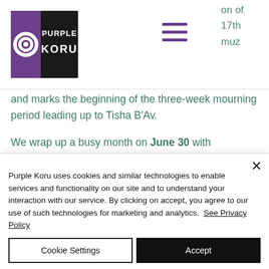[Figure (logo): Purple Koru logo with spiral swirl icon and 'PURPLE KORU' text in white on black background]
on of 17th muz
and marks the beginning of the three-week mourning period leading up to Tisha B'Av.
We wrap up a busy month on June 30 with International Asteroid Day and assuming Asteroid Day isn't prophetic, we'll see you again next month! Until
Purple Koru uses cookies and similar technologies to enable services and functionality on our site and to understand your interaction with our service. By clicking on accept, you agree to our use of such technologies for marketing and analytics.  See Privacy Policy
Cookie Settings
Accept